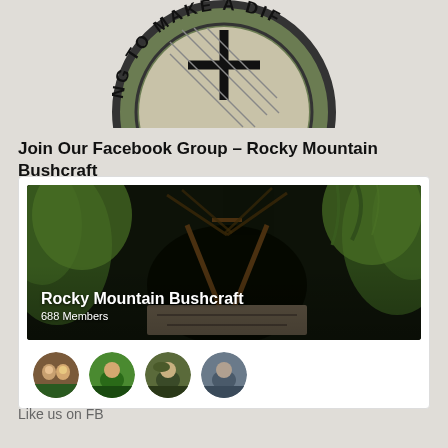[Figure (logo): Partial circular green logo showing text 'NG TO MAKE A DIF' around the edge with a cross/plus symbol and crosshatch pattern, cropped at top of page]
Join Our Facebook Group – Rocky Mountain Bushcraft
[Figure (screenshot): Facebook group card for Rocky Mountain Bushcraft showing a cover photo of a wilderness shelter made from natural materials with 688 Members, and four circular member profile photo thumbnails below]
Like us on FB